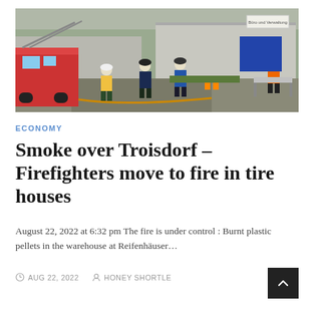[Figure (photo): Firefighters and emergency responders walking toward an industrial building with fire trucks and equipment visible. A person in orange clothing is seen on the right side near a stretcher.]
ECONOMY
Smoke over Troisdorf – Firefighters move to fire in tire houses
August 22, 2022 at 6:32 pm The fire is under control : Burnt plastic pellets in the warehouse at Reifenhäuser…
AUG 22, 2022   HONEY SHORTLE